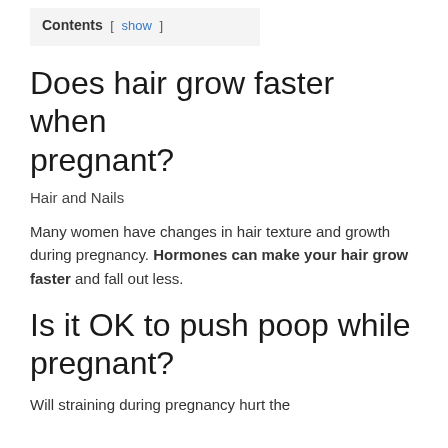Contents [ show ]
Does hair grow faster when pregnant?
Hair and Nails
Many women have changes in hair texture and growth during pregnancy. Hormones can make your hair grow faster and fall out less.
Is it OK to push poop while pregnant?
Will straining during pregnancy hurt the